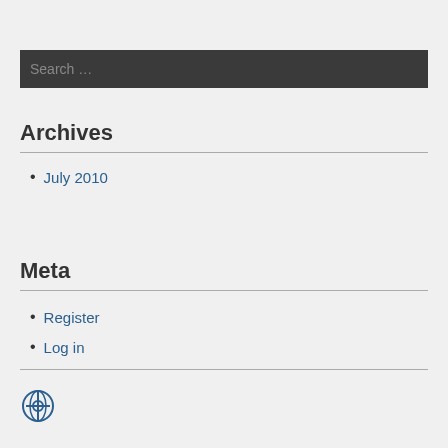Search …
Archives
July 2010
Meta
Register
Log in
[Figure (logo): WordPress logo icon in blue]